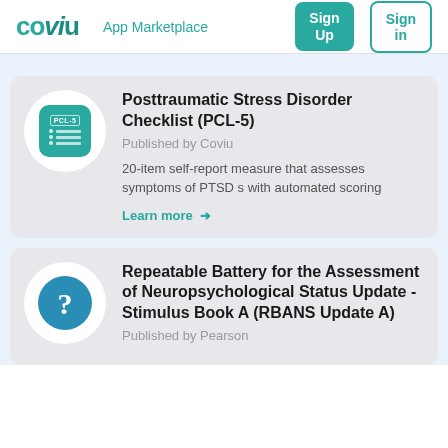COVIU  App Marketplace  Sign Up  Sign in
[Figure (logo): Coviu logo in teal color with stylized lowercase letters]
Posttraumatic Stress Disorder Checklist (PCL-5)
Published by Coviu
20-item self-report measure that assesses symptoms of PTSD s with automated scoring
Learn more →
Repeatable Battery for the Assessment of Neuropsychological Status Update - Stimulus Book A (RBANS Update A)
Published by Pearson